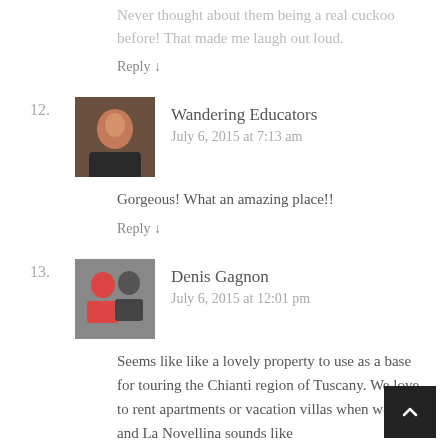Never thought about them being a real cuckoo before! That made me laugh out loud.
Reply ↓
12. Wandering Educators
July 6, 2015 at 7:13 am
Gorgeous! What an amazing place!!
Reply ↓
13. Denis Gagnon
July 6, 2015 at 12:01 pm
Seems like like a lovely property to use as a base for touring the Chianti region of Tuscany. We love to rent apartments or vacation villas when we travel and La Novellina sounds like